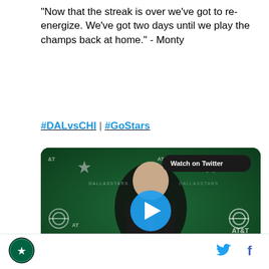"Now that the streak is over we've got to re-energize. We've got two days until we play the champs back at home." - Monty
#DALvsCHI | #GoStars
[Figure (screenshot): Video thumbnail showing a bald man in a dark suit at a Dallas Stars press conference with green backdrop. A blue play button circle is overlaid in the center. A dark badge in the top right reads 'Watch on Twitter'. AT&T and Dallas Stars logos visible on backdrop.]
4:45 AM · Nov 27, 2019
[Figure (logo): Dallas Stars circular team logo]
[Figure (logo): Twitter bird icon in blue]
[Figure (logo): Facebook f icon in blue]